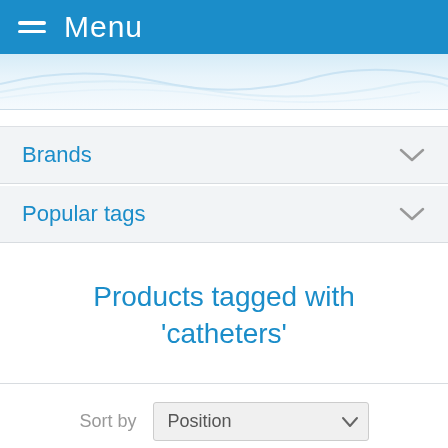Menu
Brands
Popular tags
Products tagged with 'catheters'
Sort by Position